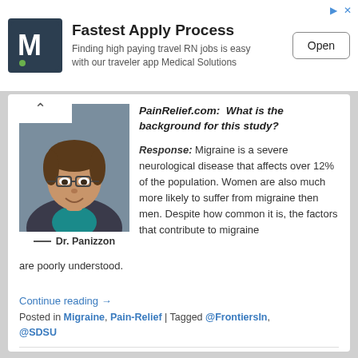[Figure (screenshot): Advertisement banner: Medical Solutions logo (white M on dark background), text 'Fastest Apply Process', subtitle 'Finding high paying travel RN jobs is easy with our traveler app Medical Solutions', and an 'Open' button]
[Figure (photo): Headshot photo of Dr. Panizzon, a person with glasses and short brown hair wearing a teal shirt and dark blazer, smiling]
— Dr. Panizzon
PainRelief.com:  What is the background for this study?
Response: Migraine is a severe neurological disease that affects over 12% of the population. Women are also much more likely to suffer from migraine then men. Despite how common it is, the factors that contribute to migraine are poorly understood.
Continue reading →
Posted in Migraine, Pain-Relief | Tagged @FrontiersIn, @SDSU